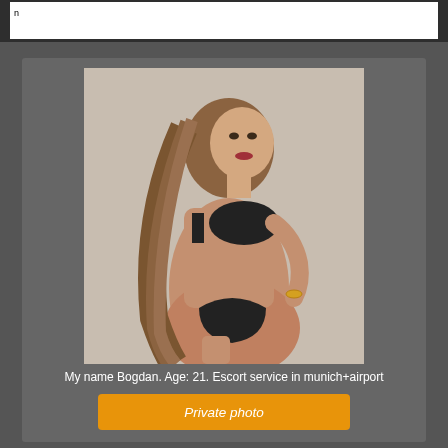[Figure (photo): Young woman with long wavy brown hair, posing in black lingerie, side profile view against a light background.]
My name Bogdan. Age: 21. Escort service in munich+airport
Private photo